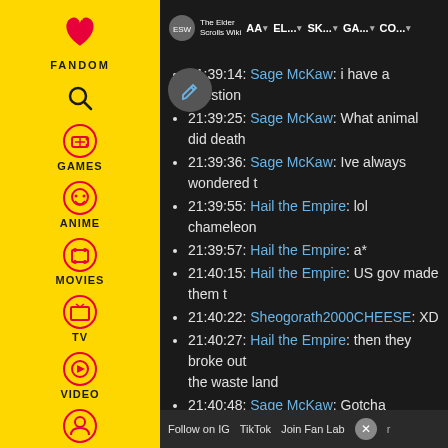[Figure (screenshot): Fandom left sidebar with yellow background showing navigation icons for Games, Anime, Movies, TV, Video, and user profile. Top navigation bar shows The Elder Scrolls Wiki logo with nav items AA, EL..., SK..., GA..., CO....]
21:39:14: Sage McKaw: i have a question
21:39:25: Sage McKaw: What animal did death
21:39:36: Sage McKaw: Ive always wondered t
21:39:55: Hail the Empire: lol chameleon
21:39:57: Hail the Empire: a*
21:40:15: Hail the Empire: US gov made them t
21:40:22: Sheogorath2000CHEESE: XD
21:40:27: Hail the Empire: then they broke out the waste land
21:40:48: Sage McKaw: Gotcha
21:40:55: Sheogorath2000CHEESE: Chamele
21:41:08: Sage McKaw: so they made it after t
21:41:28: Hail the Empire: i don't get why peop fucking love making giant BoS bases with tank sorts of modded shit
21 [partial, cut off]
Follow on IG | TikTok | Join Fan Lab | X [close]